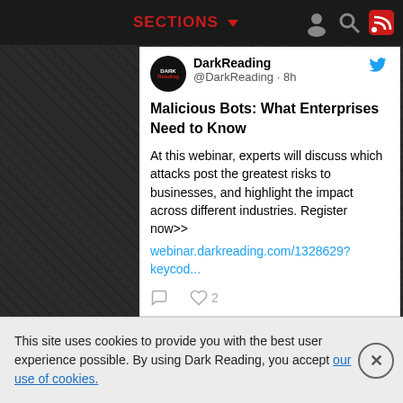SECTIONS
[Figure (screenshot): Dark Reading Twitter feed showing a tweet about 'Malicious Bots: What Enterprises Need to Know' webinar, with handle @DarkReading posted 8h ago, link to webinar.darkreading.com/1328629?keycod..., 2 likes shown]
This site uses cookies to provide you with the best user experience possible. By using Dark Reading, you accept our use of cookies.